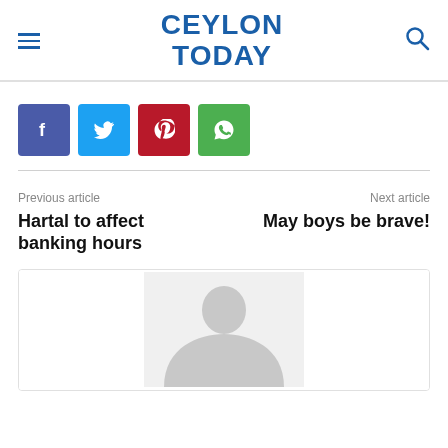CEYLON TODAY
[Figure (other): Social share buttons: Facebook (blue-purple), Twitter (cyan), Pinterest (red), WhatsApp (green)]
Previous article
Hartal to affect banking hours
Next article
May boys be brave!
[Figure (photo): Default author avatar placeholder image — grey silhouette of a person on light grey background]